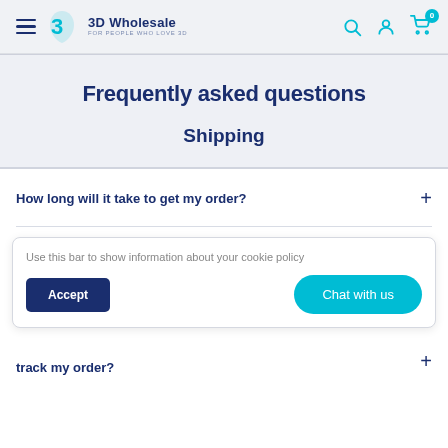3D Wholesale — FOR PEOPLE WHO LOVE 3D
Frequently asked questions
Shipping
How long will it take to get my order?
Use this bar to show information about your cookie policy
track my order?